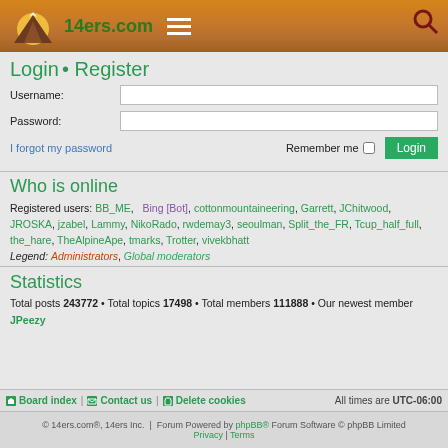[Figure (logo): 14ers.com website header with mountain logo and hamburger menu]
Login • Register
Username:
Password:
I forgot my password | Remember me [checkbox] Login
Who is online
Registered users: BB_ME, Bing [Bot], cottonmountaineering, Garrett, JChitwood, JROSKA, jzabel, Lammy, NikoRado, rwdemay3, seoulman, Split_the_FR, Tcup_half_full, the_hare, TheAlpineApe, tmarks, Trotter, vivekbhatt
Legend: Administrators, Global moderators
Statistics
Total posts 243772 • Total topics 17498 • Total members 111888 • Our newest member JPeezy
Board index | Contact us | Delete cookies | All times are UTC-06:00
© 14ers.com®, 14ers Inc. | Forum Powered by phpBB® Forum Software © phpBB Limited Privacy | Terms